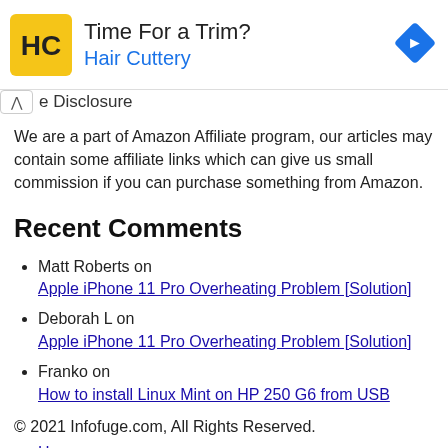[Figure (other): Advertisement banner for Hair Cuttery with logo, text 'Time For a Trim? Hair Cuttery', and a blue navigation arrow icon on the right]
e Disclosure
We are a part of Amazon Affiliate program, our articles may contain some affiliate links which can give us small commission if you can purchase something from Amazon.
Recent Comments
Matt Roberts on Apple iPhone 11 Pro Overheating Problem [Solution]
Deborah L on Apple iPhone 11 Pro Overheating Problem [Solution]
Franko on How to install Linux Mint on HP 250 G6 from USB
© 2021 Infofuge.com, All Rights Reserved.
Home